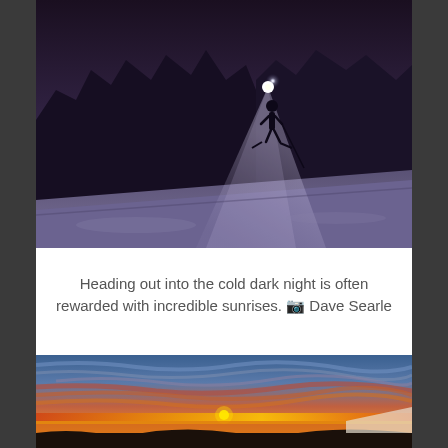[Figure (photo): Night mountaineering scene: a skier or hiker with a bright headlamp traverses a steep snow slope under dark purple sky with rocky mountain peaks in the background. The headlamp creates a bright beam of light on the snow.]
Heading out into the cold dark night is often rewarded with incredible sunrises. 📷 Dave Searle
[Figure (photo): Dramatic alpine sunrise panorama: vivid orange, red and blue clouds streak across the sky above a mountain landscape, with the sun just above the horizon casting golden light over snow and rocky terrain.]